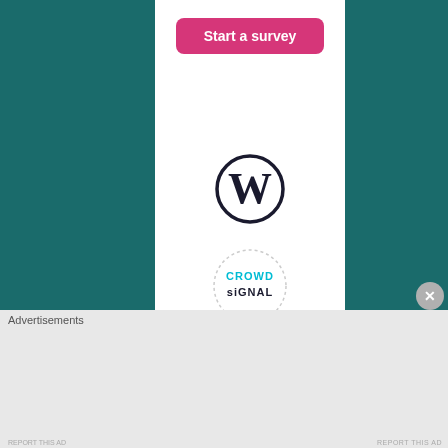[Figure (logo): Pink/magenta rounded rectangle button labeled 'Start a survey' on a white background, centered in a white column against a teal background]
[Figure (logo): WordPress circular logo (W inside circle) in dark navy/black on white background]
[Figure (logo): Crowdsignal logo: circle with dotted border, text 'CROWDsiGNAL' in cyan and dark colors]
Advertisements
[Figure (illustration): DuckDuckGo advertisement banner on orange/red background. Text: 'Search, browse, and email with more privacy. All in One Free App' with a phone showing the DuckDuckGo app and logo.]